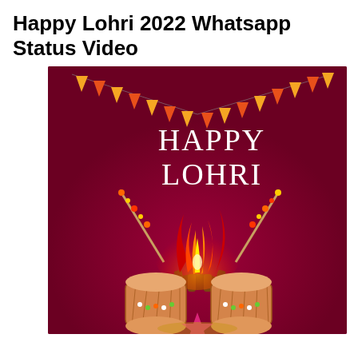Happy Lohri 2022 Whatsapp Status Video
[Figure (illustration): Lohri festival greeting illustration on dark maroon/crimson background. Shows 'HAPPY LOHRI' text in white serif font at upper center. Decorative orange and yellow triangular bunting flags hang across the top. In the lower center, a bonfire with bright orange-red-yellow flames. On either side of the bonfire are two traditional dhol (drum) instruments in brown/tan. Sticks with colorful beads are visible on both sides. Pink star-like decorative element at the bottom center.]